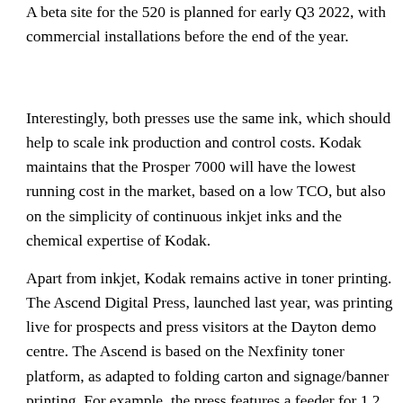A beta site for the 520 is planned for early Q3 2022, with commercial installations before the end of the year.
Interestingly, both presses use the same ink, which should help to scale ink production and control costs. Kodak maintains that the Prosper 7000 will have the lowest running cost in the market, based on a low TCO, but also on the simplicity of continuous inkjet inks and the chemical expertise of Kodak.
Apart from inkjet, Kodak remains active in toner printing. The Ascend Digital Press, launched last year, was printing live for prospects and press visitors at the Dayton demo centre. The Ascend is based on the Nexfinity toner platform, as adapted to folding carton and signage/banner printing. For example, the press features a feeder for 1.2 m